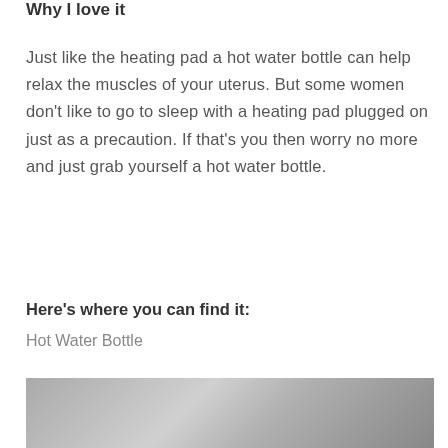Why I love it
Just like the heating pad a hot water bottle can help relax the muscles of your uterus. But some women don't like to go to sleep with a heating pad plugged on just as a precaution. If that's you then worry no more and just grab yourself a hot water bottle.
Here's where you can find it:
Hot Water Bottle
[Figure (photo): Black and white photo of a hot water bottle]